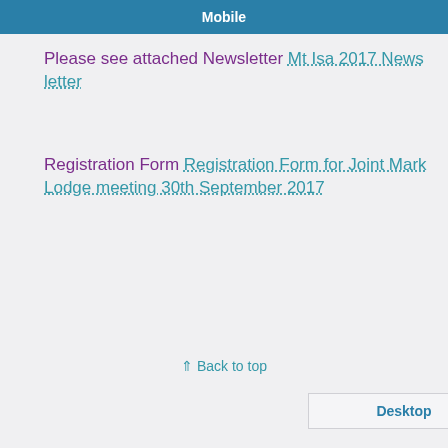Please see attached Newsletter Mt Isa 2017 News letter
Registration Form Registration Form for Joint Mark Lodge meeting 30th September 2017
⇑ Back to top
Mobile  Desktop